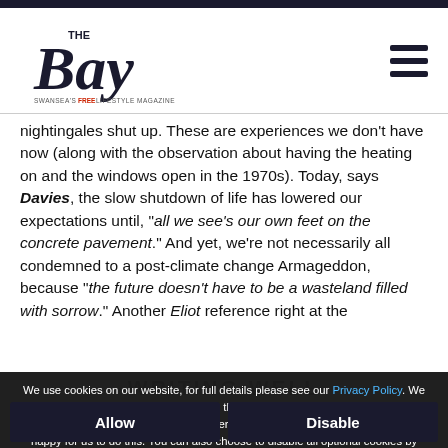The Bay - Swansea's Free Lifestyle Magazine
nightingales shut up. These are experiences we don't have now (along with the observation about having the heating on and the windows open in the 1970s). Today, says Davies, the slow shutdown of life has lowered our expectations until, "all we see's our own feet on the concrete pavement." And yet, we're not necessarily all condemned to a post-climate change Armageddon, because "the future doesn't have to be a wasteland filled with sorrow." Another Eliot reference right at the end...
We use cookies on our website, for full details please see our Privacy Policy. We would like your consent to use cookies that allow us to give you a personalised experience and advertise to you elsewhere on the internet. Click ALLOW if you're happy for us to do this. You can also choose to disable all optional cookies by clicking DISABLE.
WRITING WELL